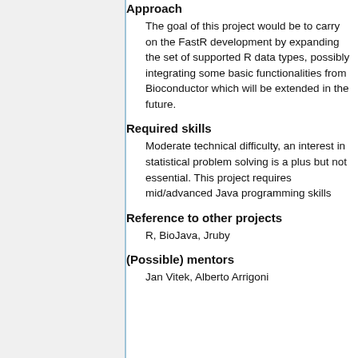Approach
The goal of this project would be to carry on the FastR development by expanding the set of supported R data types, possibly integrating some basic functionalities from Bioconductor which will be extended in the future.
Required skills
Moderate technical difficulty, an interest in statistical problem solving is a plus but not essential. This project requires mid/advanced Java programming skills
Reference to other projects
R, BioJava, Jruby
(Possible) mentors
Jan Vitek, Alberto Arrigoni